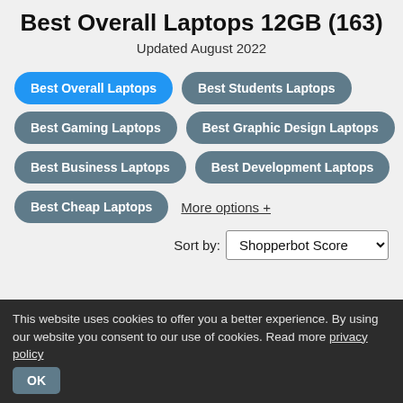Best Overall Laptops 12GB (163)
Updated August 2022
Best Overall Laptops
Best Students Laptops
Best Gaming Laptops
Best Graphic Design Laptops
Best Business Laptops
Best Development Laptops
Best Cheap Laptops
More options +
Sort by: Shopperbot Score
[Figure (photo): Laptop computer partially visible at bottom of page]
This website uses cookies to offer you a better experience. By using our website you consent to our use of cookies. Read more privacy policy OK